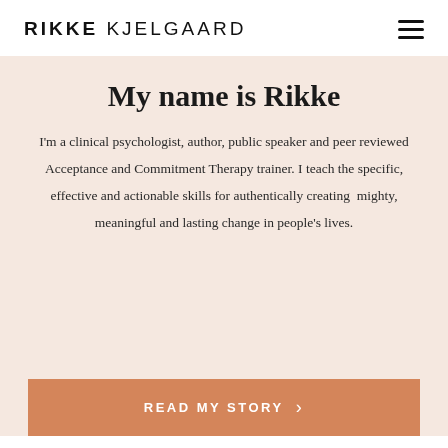RIKKE KJELGAARD
My name is Rikke
I'm a clinical psychologist, author, public speaker and peer reviewed Acceptance and Commitment Therapy trainer. I teach the specific, effective and actionable skills for authentically creating  mighty, meaningful and lasting change in people's lives.
READ MY STORY